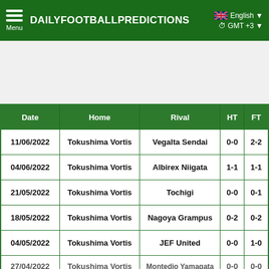DAILYFOOTBALLPREDICTIONS  English  GMT+3
[Figure (screenshot): Advertisement / blank space area]
| Date | Home | Rival | HT | FT |
| --- | --- | --- | --- | --- |
| 11/06/2022 | Tokushima Vortis | Vegalta Sendai | 0-0 | 2-2 |
| 04/06/2022 | Tokushima Vortis | Albirex Niigata | 1-1 | 1-1 |
| 21/05/2022 | Tokushima Vortis | Tochigi | 0-0 | 0-1 |
| 18/05/2022 | Tokushima Vortis | Nagoya Grampus | 0-2 | 0-2 |
| 04/05/2022 | Tokushima Vortis | JEF United | 0-0 | 1-0 |
| 27/04/2022 | Tokushima Vortis | Montedio Yamagata | 0-0 | 0-0 |